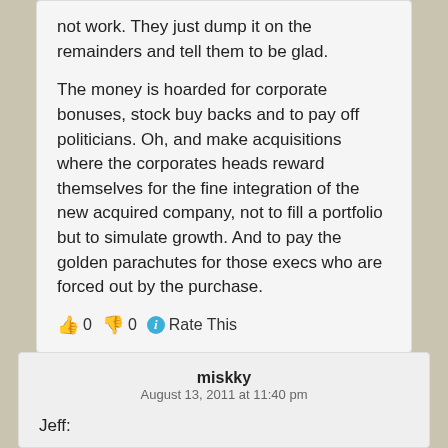not work. They just dump it on the remainders and tell them to be glad.

The money is hoarded for corporate bonuses, stock buy backs and to pay off politicians. Oh, and make acquisitions where the corporates heads reward themselves for the fine integration of the new acquired company, not to fill a portfolio but to simulate growth. And to pay the golden parachutes for those execs who are forced out by the purchase.
👍 0 👎 0 ℹ Rate This
miskky
August 13, 2011 at 11:40 pm
Jeff:
Aren't these the talking points of the progressives to